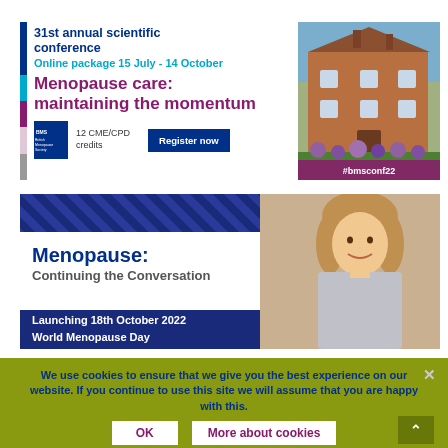31st annual scientific conference
Online package 15 July - 14 October
Menopause care: maintaining the momentum
12 CME/CPD credits
Register now
#bmsconf22
[Figure (photo): Photo of a large brick building with garden flowers in the foreground]
[Figure (photo): Conference banner: Menopause: Continuing the Conversation, Launching 18th October 2022 World Menopause Day, with photo of a smiling blonde woman]
Menopause: Continuing the Conversation
Launching 18th October 2022 World Menopause Day
We use cookies to ensure that we give you the best experience on our website. If you continue to use this site we will assume that you are happy with this.
OK
More about cookies